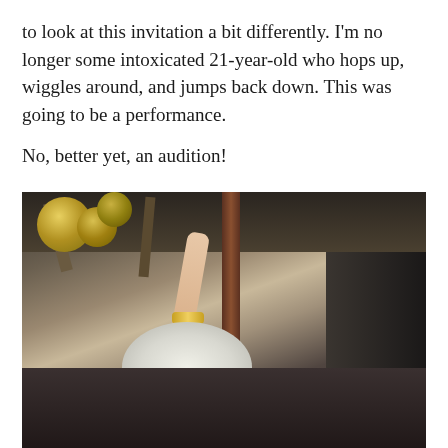to look at this invitation a bit differently. I'm no longer some intoxicated 21-year-old who hops up, wiggles around, and jumps back down. This was going to be a performance.

No, better yet, an audition!
[Figure (photo): A person photographed upside-down, wearing a houndstooth black-and-white top with a red belt, with fluffy light-colored hair, one arm raised up holding gold/brass objects, set in a dark interior space with wooden ceiling beams and a copper pipe visible.]